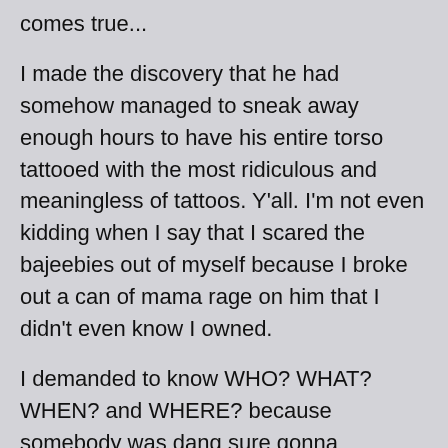comes true...
I made the discovery that he had somehow managed to sneak away enough hours to have his entire torso tattooed with the most ridiculous and meaningless of tattoos. Y'all. I'm not even kidding when I say that I scared the bajeebies out of myself because I broke out a can of mama rage on him that I didn't even know I owned.
I demanded to know WHO? WHAT? WHEN? and WHERE? because somebody was dang sure gonna pay...and the next thing I knew I was all up in the face of some long-haired hippie dude (I guess I got my answers) giving him a great big scary piece of my mind, complete with spit flying, informing him that I'd be seeing his arse in court because he had made the biggest mistake of his life when he took it upon himself to tattoo my thirteen year old and that I would